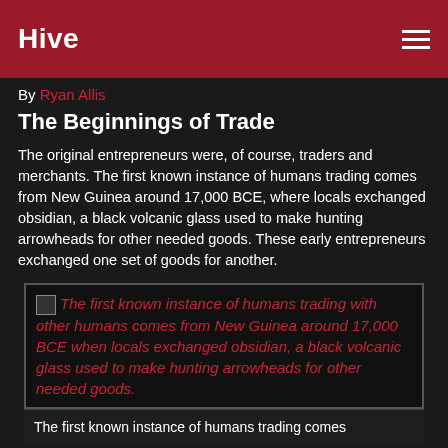Hive
By Ryan Allis
The Beginnings of Trade
The original entrepreneurs were, of course, traders and merchants. The first known instance of humans trading comes from New Guinea around 17,000 BCE, where locals exchanged obsidian, a black volcanic glass used to make hunting arrowheads for other needed goods. These early entrepreneurs exchanged one set of goods for another.
[Figure (illustration): Image with alt text: The first known instance of humans trading with other humans comes from New Guinea around 17,000 BCE when locals exchanged obsidian, a black volcanic glass used to make hunting arrowheads for other needed goods.]
The first known instance of humans trading comes